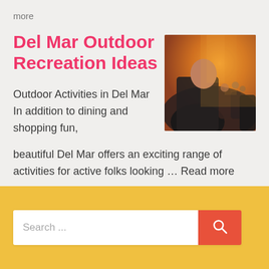more
Del Mar Outdoor Recreation Ideas
[Figure (photo): Outdoor crowd scene at golden hour, people gathered at an outdoor event, warm sunset light]
Outdoor Activities in Del Mar In addition to dining and shopping fun, beautiful Del Mar offers an exciting range of activities for active folks looking … Read more